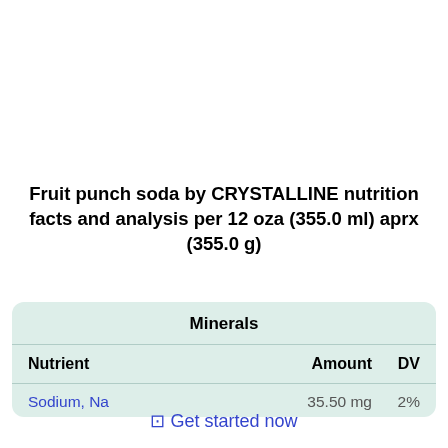Fruit punch soda by CRYSTALLINE nutrition facts and analysis per 12 oza (355.0 ml) aprx (355.0 g)
| Nutrient | Amount | DV |
| --- | --- | --- |
| Sodium, Na | 35.50 mg | 2% |
⊡ Get started now